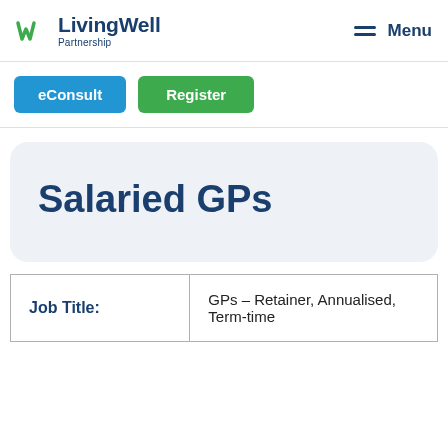Living Well Partnership — Menu
eConsult
Register
Salaried GPs
| Job Title: | GPs – Retainer, Annualised, Term-time |
| --- | --- |
| Job Title: | GPs – Retainer, Annualised, Term-time |